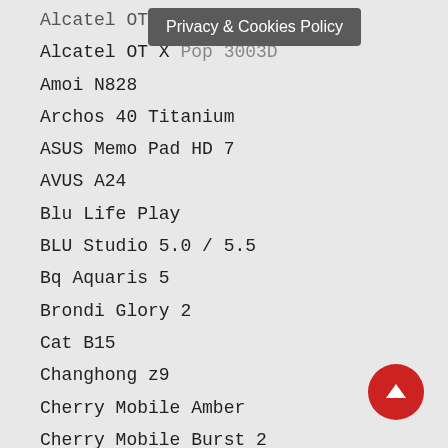Alcatel OT St…
Alcatel OT X Pop 3003D
Amoi N828
Archos 40 Titanium
ASUS Memo Pad HD 7
AVUS A24
Blu Life Play
BLU Studio 5.0 / 5.5
Bq Aquaris 5
Brondi Glory 2
Cat B15
Changhong z9
Cherry Mobile Amber
Cherry Mobile Burst 2
Cherry Mobile Cosmos S
Cherry Mobile Cosmos X
Chinese Star S7589
Coolbox Quore v57
Cube U39GT 3G (CubeTalk 9)